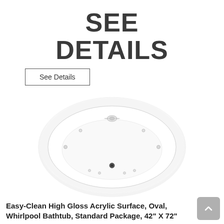SEE DETAILS
See Details
[Figure (photo): Top-down view of a white oval whirlpool bathtub with multiple jets visible, shown on white background]
Easy-Clean High Gloss Acrylic Surface, Oval, Whirlpool Bathtub, Standard Package, 42" X 72"